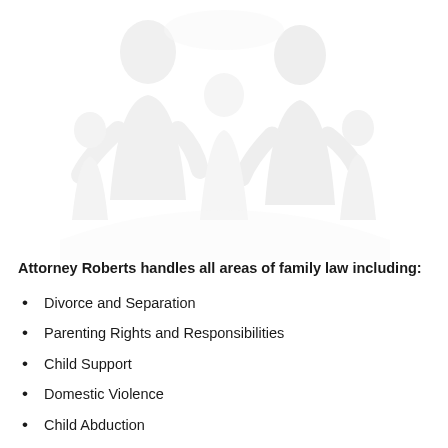[Figure (photo): Faded/watermark-style background image of a family (adults and children silhouettes) in light gray tones]
Attorney Roberts handles all areas of family law including:
Divorce and Separation
Parenting Rights and Responsibilities
Child Support
Domestic Violence
Child Abduction (partial)